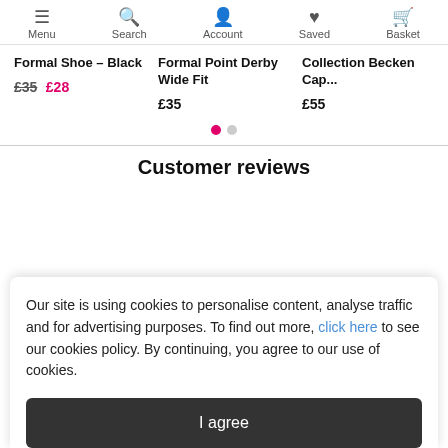Menu | Search | Account | Saved | Basket
Formal Shoe - Black
£35 £28
Formal Point Derby Wide Fit
£35
Collection Becken Cap...
£55
Customer reviews
Our site is using cookies to personalise content, analyse traffic and for advertising purposes. To find out more, click here to see our cookies policy. By continuing, you agree to our use of cookies.
I agree